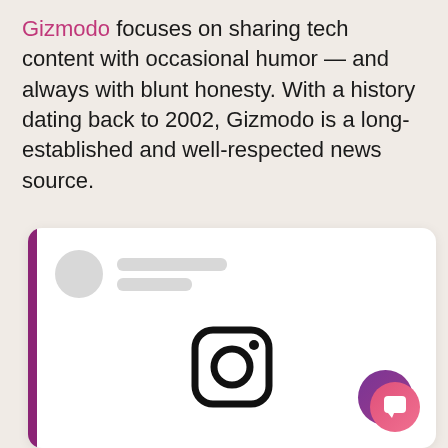Gizmodo focuses on sharing tech content with occasional humor — and always with blunt honesty. With a history dating back to 2002, Gizmodo is a long-established and well-respected news source.
[Figure (screenshot): A card UI element with a purple left border, a placeholder profile row (gray circle avatar and two gray placeholder lines), and an Instagram logo icon centered in the lower portion of the card. A chat bubble button (gradient purple-to-pink) appears in the bottom-right corner.]